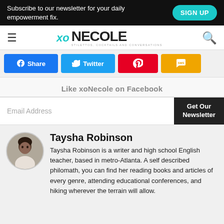Subscribe to our newsletter for your daily empowerment fix.
[Figure (logo): xoNecole logo with hamburger menu and search icon]
[Figure (infographic): Social share buttons: Share (Facebook), Twitter, Pinterest, SMS]
Like xoNecole on Facebook
Email Address
Get Our Newsletter
Taysha Robinson
Taysha Robinson is a writer and high school English teacher, based in metro-Atlanta. A self described philomath, you can find her reading books and articles of every genre, attending educational conferences, and hiking wherever the terrain will allow.